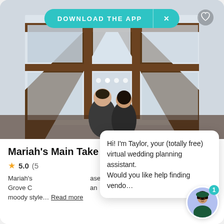[Figure (photo): Wedding couple standing in front of large rustic wooden-framed windows with winter trees visible outside. The venue has dramatic angular wooden beams framing the windows.]
Mariah's Main Take
★ 5.0 (5...
Mariah's ...based... Grove C... ...an moody style... Read more
Hi! I'm Taylor, your (totally free) virtual wedding planning assistant. Would you like help finding vendo...